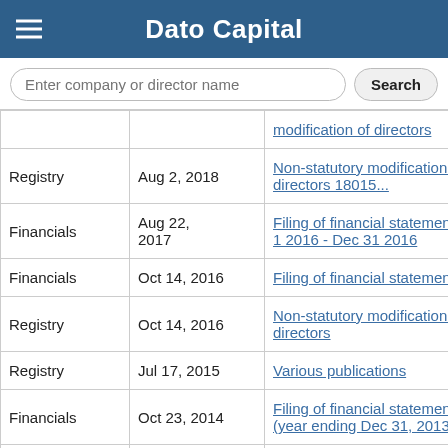Dato Capital
| Type | Date | Description |
| --- | --- | --- |
| Registry | Aug 2, 2018 | Non-statutory modification of directors 18015... |
| Financials | Aug 22, 2017 | Filing of financial statement Jan 1 2016 - Dec 31 2016 |
| Financials | Oct 14, 2016 | Filing of financial statement |
| Registry | Oct 14, 2016 | Non-statutory modification of directors |
| Registry | Jul 17, 2015 | Various publications |
| Financials | Oct 23, 2014 | Filing of financial statement (year ending Dec 31, 2013) |
| Financials | Nov 13, ... | Filing of financial statement (year ending... |